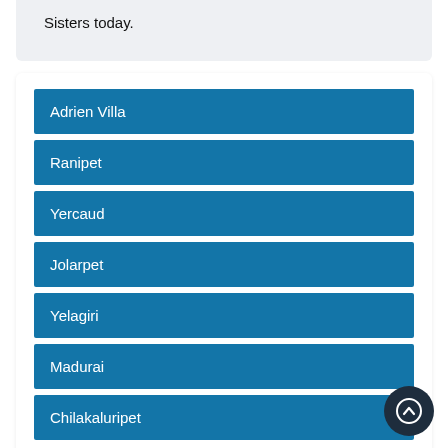Sisters today.
Adrien Villa
Ranipet
Yercaud
Jolarpet
Yelagiri
Madurai
Chilakaluripet